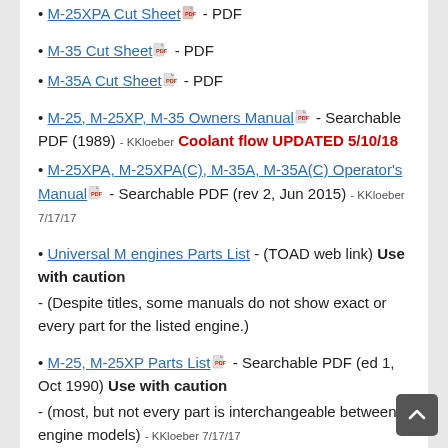M-25XPA Cut Sheet [PDF icon] - PDF
M-35 Cut Sheet [PDF icon] - PDF
M-35A Cut Sheet [PDF icon] - PDF
M-25, M-25XP, M-35 Owners Manual [PDF icon] - Searchable PDF (1989) - KKloeber Coolant flow UPDATED 5/10/18
M-25XPA, M-25XPA(C), M-35A, M-35A(C) Operator's Manual [PDF icon] - Searchable PDF (rev 2, Jun 2015) - KKloeber 7/17/17
Universal M engines Parts List - (TOAD web link) Use with caution
- (Despite titles, some manuals do not show exact or every part for the listed engine.)
M-25, M-25XP Parts List [PDF icon] - Searchable PDF (ed 1, Oct 1990) Use with caution
- (most, but not every part is interchangeable between engine models) - KKloeber 7/17/17